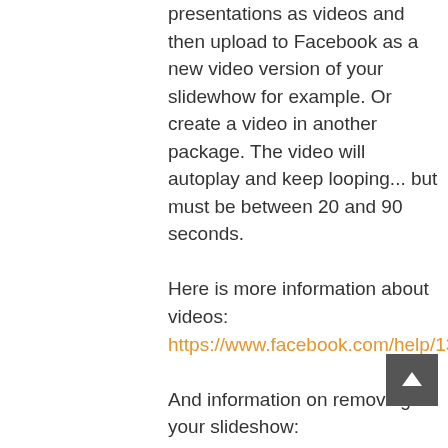You can save powerpoint presentations as videos and then upload to Facebook as a new video version of your slidewhow for example. Or create a video in another package. The video will autoplay and keep looping... but must be between 20 and 90 seconds. Here is more information about videos: https://www.facebook.com/help/132465104004008 And information on removing your slideshow: https://www.facebook.com/help/